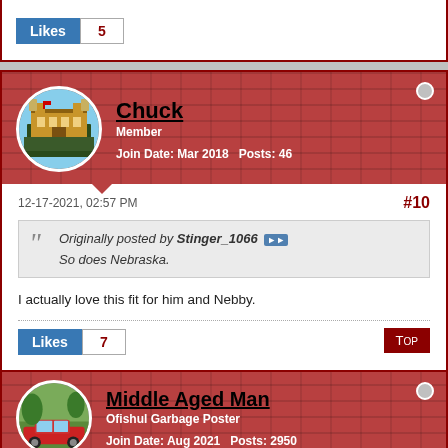Likes 5
Chuck — Member — Join Date: Mar 2018 — Posts: 46
12-17-2021, 02:57 PM  #10
Originally posted by Stinger_1066
So does Nebraska.
I actually love this fit for him and Nebby.
Likes 7
Top
Middle Aged Man — Ofishul Garbage Poster — Join Date: Aug 2021 — Posts: 2950